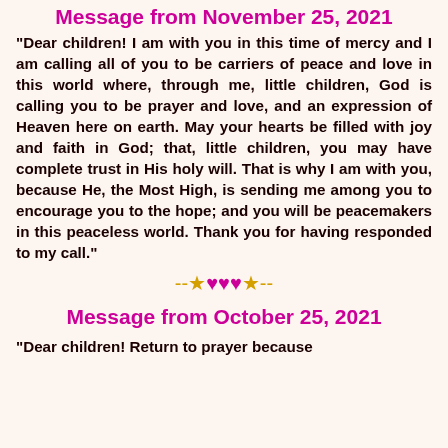Message from November 25, 2021
“Dear children! I am with you in this time of mercy and I am calling all of you to be carriers of peace and love in this world where, through me, little children, God is calling you to be prayer and love, and an expression of Heaven here on earth. May your hearts be filled with joy and faith in God; that, little children, you may have complete trust in His holy will. That is why I am with you, because He, the Most High, is sending me among you to encourage you to the hope; and you will be peacemakers in this peaceless world. Thank you for having responded to my call.”
[Figure (illustration): Decorative divider with gold stars and pink/magenta hearts: --★♥♥♥★--]
Message from October 25, 2021
“Dear children! Return to prayer because